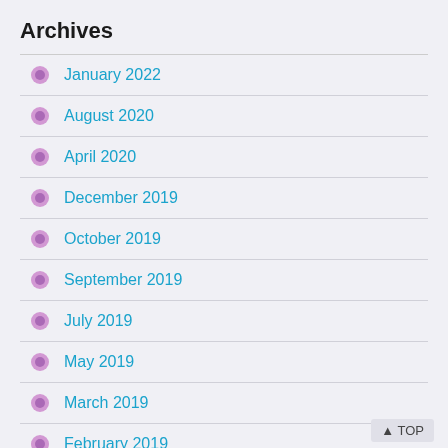Archives
January 2022
August 2020
April 2020
December 2019
October 2019
September 2019
July 2019
May 2019
March 2019
February 2019
January 2019
November 2018
October 2018